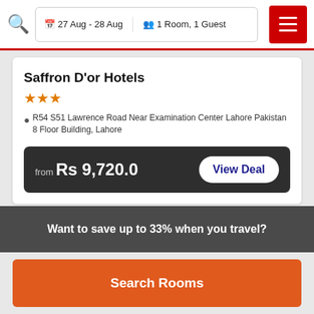27 Aug - 28 Aug  1 Room, 1 Guest
Saffron D'or Hotels
★★★
R54 S51 Lawrence Road Near Examination Center Lahore Pakistan 8 Floor Building, Lahore
from Rs 9,720.0  View Deal
Want to save up to 33% when you travel?
Search Rooms